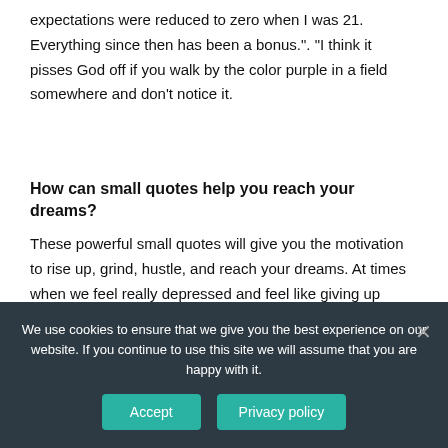expectations were reduced to zero when I was 21. Everything since then has been a bonus.". "I think it pisses God off if you walk by the color purple in a field somewhere and don't notice it.
How can small quotes help you reach your dreams?
These powerful small quotes will give you the motivation to rise up, grind, hustle, and reach your dreams. At times when we feel really depressed and feel like giving up some words of wisdom can change our perspective and give us the positive energy to get up again and fight the
We use cookies to ensure that we give you the best experience on our website. If you continue to use this site we will assume that you are happy with it.